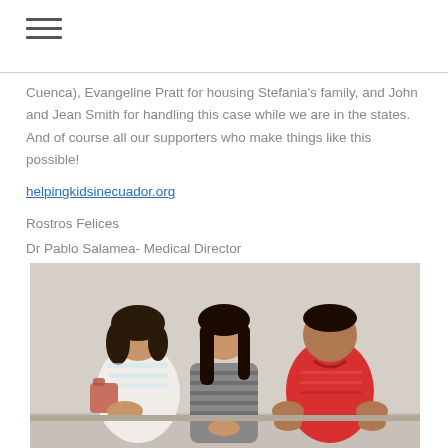≡
Cuenca), Evangeline Pratt for housing Stefania's family, and John and Jean Smith for handling this case while we are in the states. And of course all our supporters who make things like this possible!
helpingkidsinecuador.org
Rostros Felices
Dr Pablo Salamea- Medical Director
[Figure (photo): Three people (two women and one man) seated against a light-colored wall. The woman on the left wears a white top and has a bag, the woman in the middle wears a striped cardigan, and the man on the right wears a red polo shirt.]